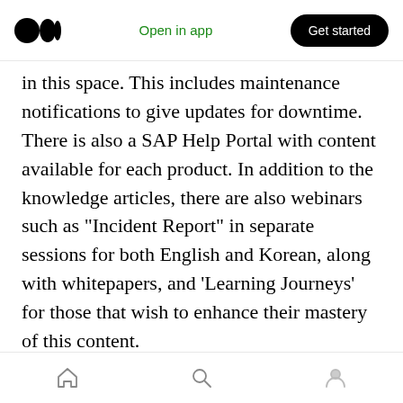Open in app | Get started
in this space. This includes maintenance notifications to give updates for downtime. There is also a SAP Help Portal with content available for each product. In addition to the knowledge articles, there are also webinars such as “Incident Report” in separate sessions for both English and Korean, along with whitepapers, and ‘Learning Journeys’ for those that wish to enhance their mastery of this content.
For those that want to interact with fellow users there is the SAP Community where users can post questions and also help fellow users, along
Home | Search | Profile